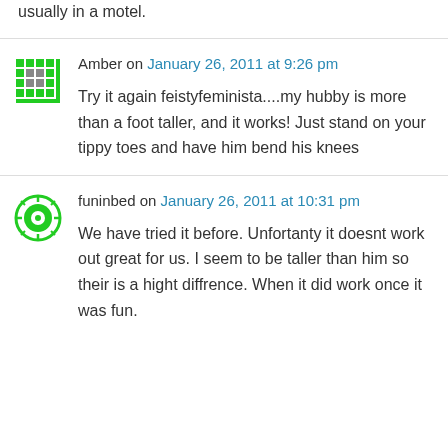usually in a motel.
Amber on January 26, 2011 at 9:26 pm
Try it again feistyfeminista....my hubby is more than a foot taller, and it works! Just stand on your tippy toes and have him bend his knees
funinbed on January 26, 2011 at 10:31 pm
We have tried it before. Unfortanty it doesnt work out great for us. I seem to be taller than him so their is a hight diffrence. When it did work once it was fun.